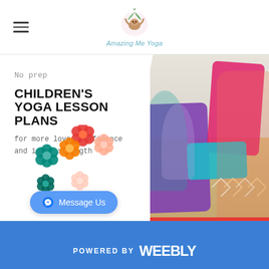Amazing Me Yoga
No prep
CHILDREN'S YOGA LESSON PLANS
for more love, confidence and inner strength
[Figure (illustration): Decorative colorful flowers cluster illustration]
[Figure (photo): Children doing yoga poses on colorful mats with instructor in foreground, gym setting with wooden floor]
Message Us
POWERED BY weebly